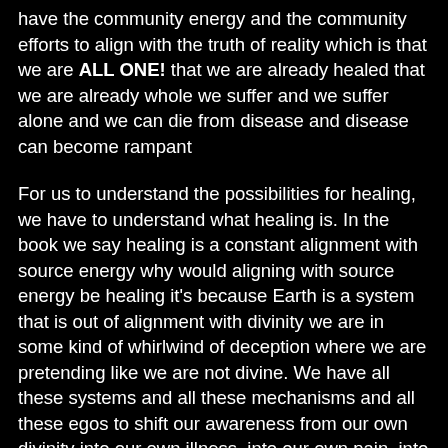have the community energy and the community efforts to align with the truth of reality which is that we are ALL ONE! that we are already healed that we are already whole we suffer and we suffer alone and we can die from disease and disease can become rampant
For us to understand the possibilities for healing, we have to understand what healing is. In the book we say healing is a constant alignment with source energy why would aligning with source energy be healing it's because Earth is a system that is out of alignment with divinity we are in some kind of whirlwind of deception where we are pretending like we are not divine. We have all these systems and all these mechanisms and all these egos to shift our awareness from our own divinity into our own illness, into our own pain, into our own suffering.
On the higher planes this suffering this illness this pain isn't real, it's like a fever dream. It doesn't really exist, but to us it